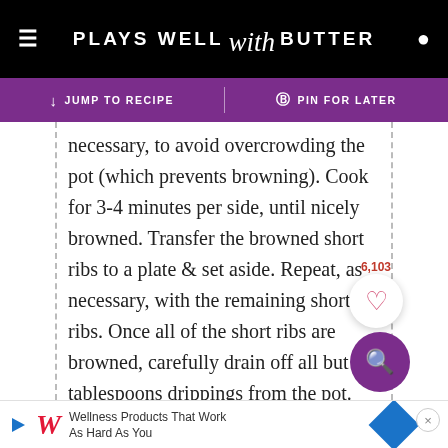PLAYS WELL with BUTTER
↓ JUMP TO RECIPE | ♟ PIN FOR LATER
necessary, to avoid overcrowding the pot (which prevents browning). Cook for 3-4 minutes per side, until nicely browned. Transfer the browned short ribs to a plate & set aside. Repeat, as necessary, with the remaining short ribs. Once all of the short ribs are browned, carefully drain off all but 2 tablespoons drippings from the pot. Set aside & discard once cooled. Returning the pot to medium heat.
Wellness Products That Work As Hard As You